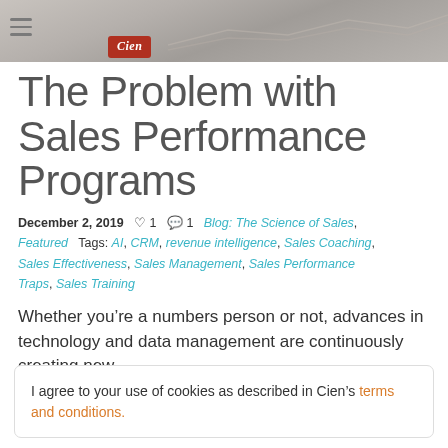[Figure (photo): Top banner photo showing hands with chart/graph and notebook, partially visible]
The Problem with Sales Performance Programs
December 2, 2019  ♡ 1  💬 1  Blog: The Science of Sales, Featured   Tags: AI, CRM, revenue intelligence, Sales Coaching, Sales Effectiveness, Sales Management, Sales Performance Traps, Sales Training
Whether you're a numbers person or not, advances in technology and data management are continuously creating new
I agree to your use of cookies as described in Cien's terms and conditions.